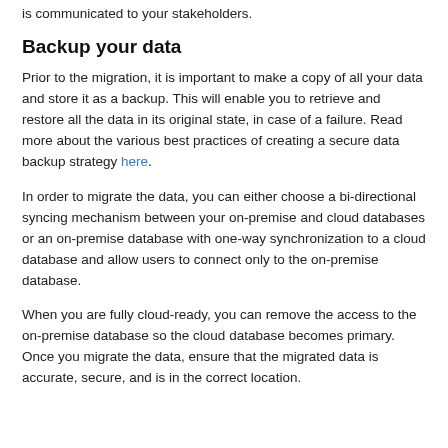is communicated to your stakeholders.
Backup your data
Prior to the migration, it is important to make a copy of all your data and store it as a backup. This will enable you to retrieve and restore all the data in its original state, in case of a failure. Read more about the various best practices of creating a secure data backup strategy here.
In order to migrate the data, you can either choose a bi-directional syncing mechanism between your on-premise and cloud databases or an on-premise database with one-way synchronization to a cloud database and allow users to connect only to the on-premise database.
When you are fully cloud-ready, you can remove the access to the on-premise database so the cloud database becomes primary. Once you migrate the data, ensure that the migrated data is accurate, secure, and is in the correct location.